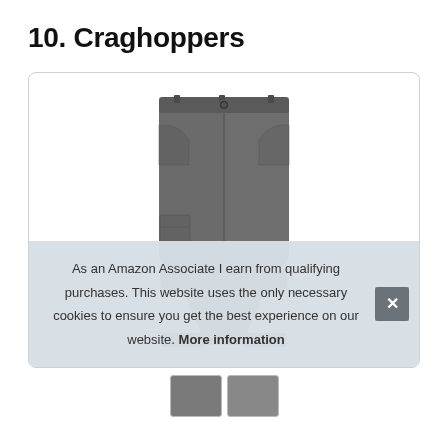10. Craghoppers
[Figure (photo): A pair of dark grey Craghoppers cargo-style trousers/pants shown from the front, cropped at the knee area. The pants feature a button closure, belt loops, side pockets, and cargo pocket details.]
As an Amazon Associate I earn from qualifying purchases. This website uses the only necessary cookies to ensure you get the best experience on our website. More information